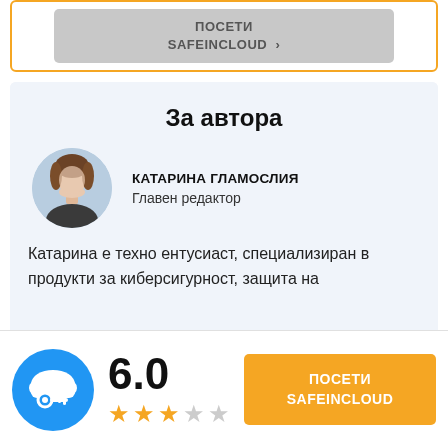[Figure (screenshot): Gray button reading ПОСЕТИ SAFEINCLOUD with arrow, inside orange-bordered card]
За автора
[Figure (photo): Round avatar photo of Катарина Гламослия]
КАТАРИНА ГЛАМОСЛИЯ
Главен редактор
Катарина е техно ентусиаст, специализиран в продукти за киберсигурност, защита на
[Figure (logo): SafeInCloud blue circular logo with cloud and key icon]
6.0
[Figure (other): Star rating: 3 filled stars, 1 half/empty, 1 empty]
ПОСЕТИ SAFEINCLOUD